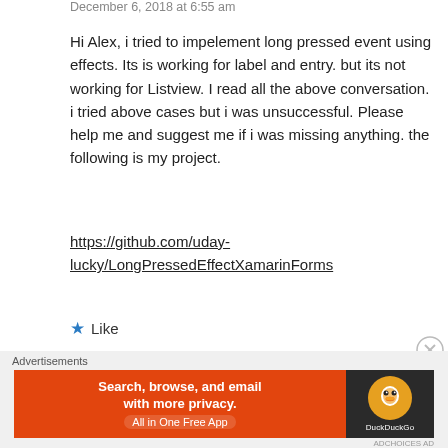December 6, 2018 at 6:55 am
Hi Alex, i tried to impelement long pressed event using effects. Its is working for label and entry. but its not working for Listview. I read all the above conversation. i tried above cases but i was unsuccessful. Please help me and suggest me if i was missing anything. the following is my project.
https://github.com/uday-lucky/LongPressedEffectXamarinForms
★ Like
REPLY
[Figure (screenshot): DuckDuckGo advertisement banner: Search, browse, and email with more privacy. All in One Free App]